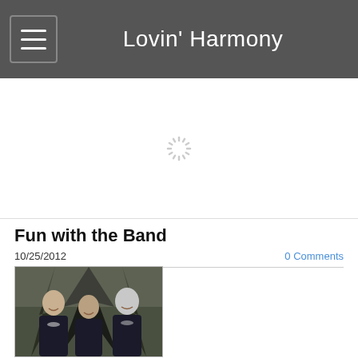Lovin' Harmony
[Figure (photo): Loading spinner / animated loading indicator in the banner area]
Fun with the Band
10/25/2012
0 Comments
[Figure (photo): Three women dressed in black formal attire posing together in front of dark foliage]